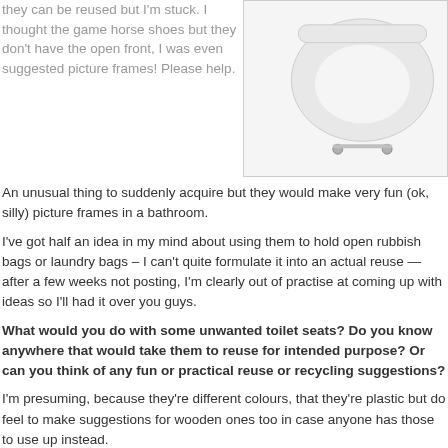they can be reused but I'm stuck. I thought the game horse shoes but they don't have the open front, I was even suggested picture frames! Please help.
[Figure (photo): A white toilet seat with chrome hinges shown against a white background]
An unusual thing to suddenly acquire but they would make very fun (ok, silly) picture frames in a bathroom.
I've got half an idea in my mind about using them to hold open rubbish bags or laundry bags – I can't quite formulate it into an actual reuse — after a few weeks not posting, I'm clearly out of practise at coming up with ideas so I'll had it over you guys.
What would you do with some unwanted toilet seats? Do you know anywhere that would take them to reuse for intended purpose? Or can you think of any fun or practical reuse or recycling suggestions?
I'm presuming, because they're different colours, that they're plastic but do feel to make suggestions for wooden ones too in case anyone has those to use up instead.
Related Posts